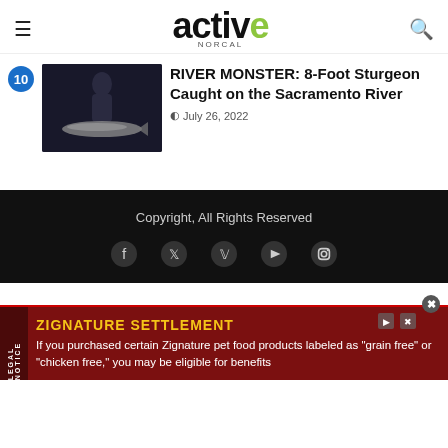active NORCAL
RIVER MONSTER: 8-Foot Sturgeon Caught on the Sacramento River
July 26, 2022
[Figure (photo): Dark nighttime photo showing a large sturgeon fish being held by a person near the Sacramento River]
Copyright, All Rights Reserved
[Figure (infographic): Social media icons: Facebook, Twitter, Pinterest, YouTube, Instagram]
ZIGNATURE SETTLEMENT
If you purchased certain Zignature pet food products labeled as "grain free" or "chicken free," you may be eligible for benefits